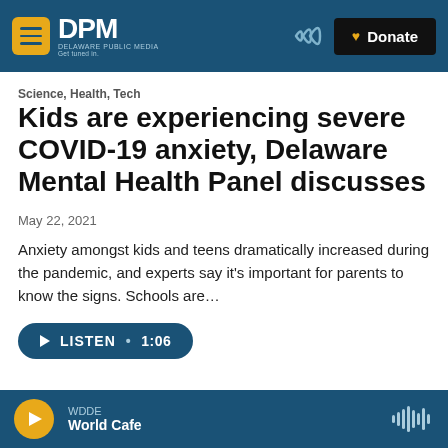DPM Delaware Public Media — Donate
Science, Health, Tech
Kids are experiencing severe COVID-19 anxiety, Delaware Mental Health Panel discusses
May 22, 2021
Anxiety amongst kids and teens dramatically increased during the pandemic, and experts say it's important for parents to know the signs. Schools are…
LISTEN • 1:06
WDDE — World Cafe